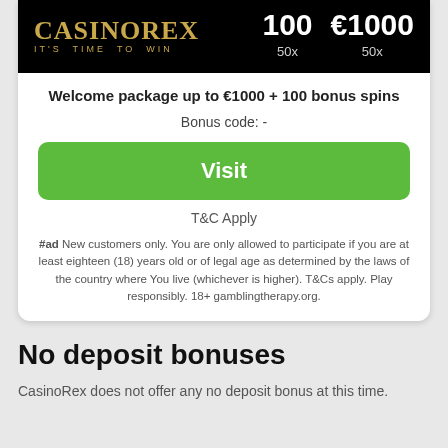[Figure (logo): CasinoRex logo with tagline IT'S TIME TO WIN on black background, alongside bonus stats: 100 spins (50x) and €1000 (50x)]
Welcome package up to €1000 + 100 bonus spins
Bonus code: -
Visit
T&C Apply
#ad New customers only. You are only allowed to participate if you are at least eighteen (18) years old or of legal age as determined by the laws of the country where You live (whichever is higher). T&Cs apply. Play responsibly. 18+ gamblingtherapy.org.
No deposit bonuses
CasinoRex does not offer any no deposit bonus at this time.